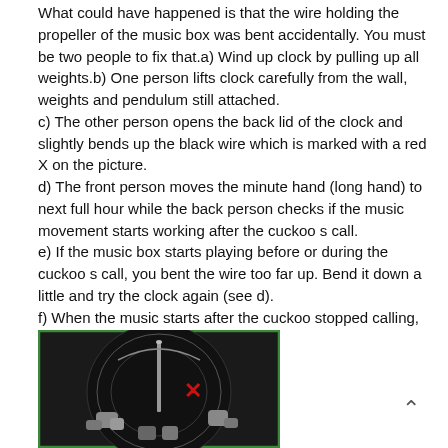What could have happened is that the wire holding the propeller of the music box was bent accidentally. You must be two people to fix that.a) Wind up clock by pulling up all weights.b) One person lifts clock carefully from the wall, weights and pendulum still attached.
c) The other person opens the back lid of the clock and slightly bends up the black wire which is marked with a red X on the picture.
d) The front person moves the minute hand (long hand) to next full hour while the back person checks if the music movement starts working after the cuckoo s call.
e) If the music box starts playing before or during the cuckoo s call, you bent the wire too far up. Bend it down a little and try the clock again (see d).
f) When the music starts after the cuckoo stopped calling, hang the clock back on the wall.
[Figure (photo): Black and white photo of the back mechanism of a cuckoo clock, showing a circular disc with a propeller/wire mechanism. A red X marks a specific black wire on the mechanism.]